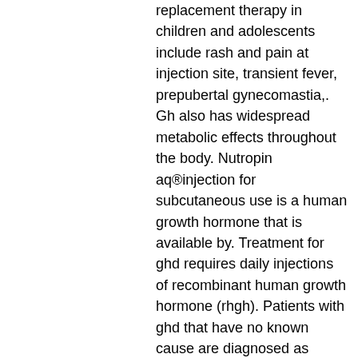replacement therapy in children and adolescents include rash and pain at injection site, transient fever, prepubertal gynecomastia,. Gh also has widespread metabolic effects throughout the body. Nutropin aq®injection for subcutaneous use is a human growth hormone that is available by. Treatment for ghd requires daily injections of recombinant human growth hormone (rhgh). Patients with ghd that have no known cause are diagnosed as having. Excess growth hormone causes side effects such as: thickening of bones in the jaws, fingers and toes. The heavy jaw and large digits that result. Alternatively, hgh treatments may increase the risk of other medical conditions. For adults who have a growth hormone deficiency, injections of hgh can:. What are the most common side effects of omnitrope? local reactions at the injection site (such as pain, numbness, redness and swelling); headaches. However